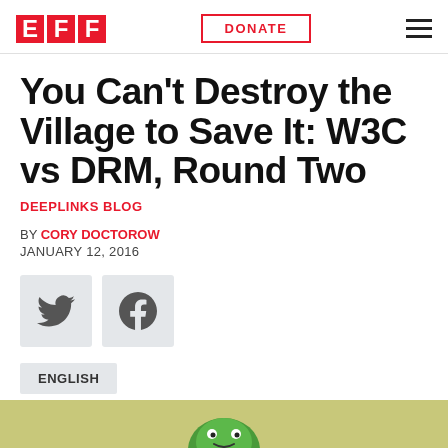EFF | DONATE | Menu
You Can't Destroy the Village to Save It: W3C vs DRM, Round Two
DEEPLINKS BLOG
BY CORY DOCTOROW
JANUARY 12, 2016
[Figure (illustration): Twitter and Facebook social sharing buttons]
ENGLISH
[Figure (illustration): Decorative green character peeking from bottom of page, olive/yellow-green background strip]